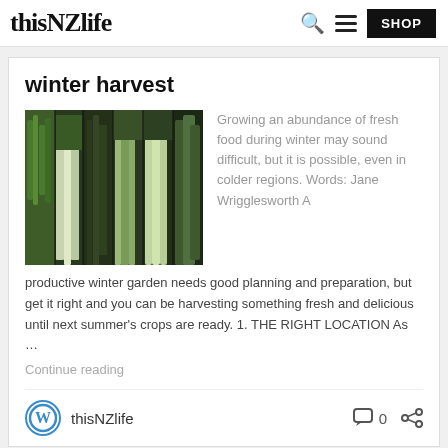thisNZlife
winter harvest
[Figure (photo): A composite photo strip showing various green leafy vegetables including herbs, bok choy, kale, and other winter greens arranged side by side against a dark background]
Growing an abundance of fresh food during winter may sound difficult, but it is possible, even in colder regions. Words: Jane Wrigglesworth A productive winter garden needs good planning and preparation, but get it right and you can be harvesting something fresh and delicious until next summer's crops are ready. 1. THE RIGHT LOCATION As …
Continue reading
thisNZlife  0